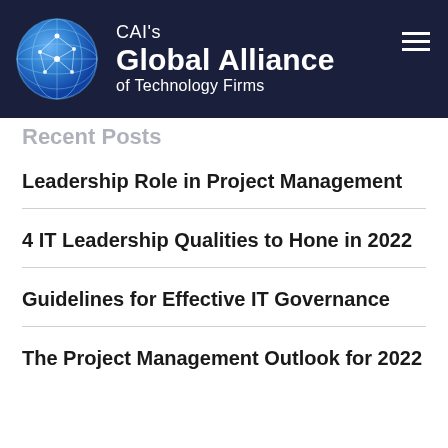[Figure (logo): CAI's Global Alliance of Technology Firms logo with globe graphic on dark navy background header]
Recent Posts
Leadership Role in Project Management
4 IT Leadership Qualities to Hone in 2022
Guidelines for Effective IT Governance
The Project Management Outlook for 2022